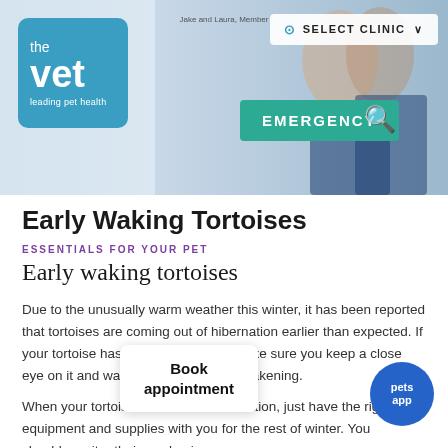[Figure (screenshot): Website header banner showing veterinary clinic staff in the background, with 'the vet - leading pet health' logo on the left, a teal 'EMERGENCY' button in the center, a search icon, and a 'SELECT CLINIC' dropdown button on the top right.]
Early Waking Tortoises
ESSENTIALS FOR YOUR PET
Early waking tortoises
Due to the unusually warm weather this winter, it has been reported that tortoises are coming out of hibernation earlier than expected. If your tortoise has been hibernating, make sure you keep a close eye on it and watch out for signs of awakening.
When your tortoise arises from h... ju... have the right equipment and su... w... for the rest of winter. You should monitor their awakening